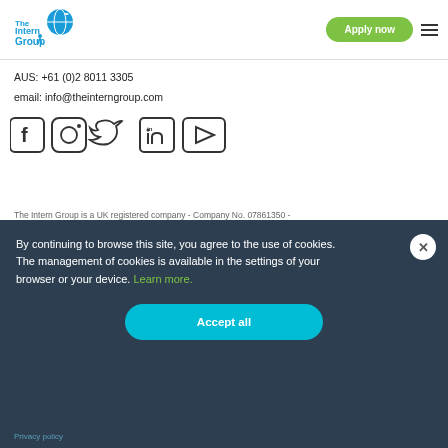[Figure (logo): The Intern Group logo with globe graphic]
Apply now
AUS: +61 (0)2 8011 3305
email: info@theinterngroup.com
[Figure (illustration): Social media icons: Facebook, Instagram, Twitter, LinkedIn, YouTube]
The Intern Group is a UK registered company - Company No. 07861350 -
By continuing to browse this site, you agree to the use of cookies. The management of cookies is available in the settings of your browser or your device. Learn more.
Accept all